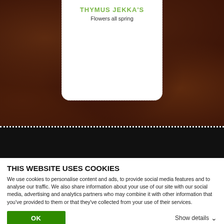[Figure (photo): Dark soil/compost background texture photograph with a white card overlay showing plant information. The card has a dashed border and displays the plant name 'THYMUS JEKKA'S' in green uppercase text and 'Flowers all spring' below it.]
THYMUS JEKKA'S
Flowers all spring
THIS WEBSITE USES COOKIES
We use cookies to personalise content and ads, to provide social media features and to analyse our traffic. We also share information about your use of our site with our social media, advertising and analytics partners who may combine it with other information that you've provided to them or that they've collected from your use of their services.